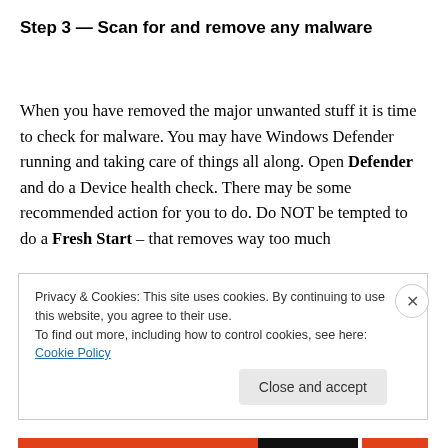Step 3 — Scan for and remove any malware
When you have removed the major unwanted stuff it is time to check for malware. You may have Windows Defender running and taking care of things all along. Open Defender and do a Device health check. There may be some recommended action for you to do. Do NOT be tempted to do a Fresh Start – that removes way too much
Privacy & Cookies: This site uses cookies. By continuing to use this website, you agree to their use.
To find out more, including how to control cookies, see here: Cookie Policy
Close and accept